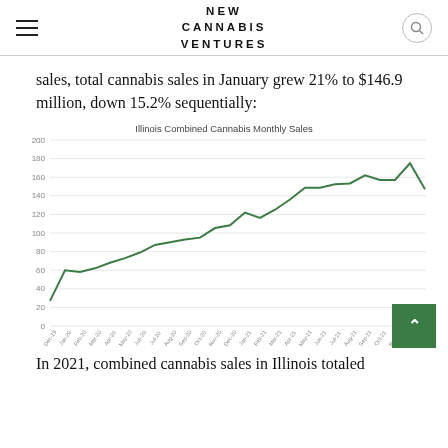NEW CANNABIS VENTURES
sales, total cannabis sales in January grew 21% to $146.9 million, down 15.2% sequentially:
[Figure (line-chart): Illinois Combined Cannabis Monthly Sales]
In 2021, combined cannabis sales in Illinois totaled